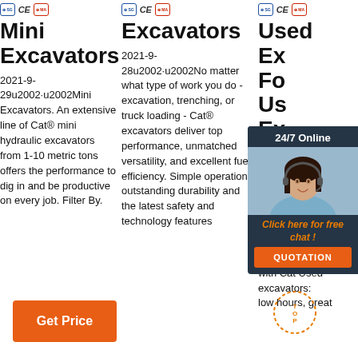[Figure (logo): Certification badges: SG, CE, MA icons - column 1]
Mini Excavators
2021-9-29u2002·u2002Mini Excavators. An extensive line of Cat® mini hydraulic excavators from 1-10 metric tons offers the performance to dig in and be productive on every job. Filter By.
[Figure (logo): Certification badges: SG, CE, MA icons - column 2]
Excavators
2021-9-28u2002·u2002No matter what type of work you do - excavation, trenching, or truck loading - Cat® excavators deliver top performance, unmatched versatility, and excellent fuel efficiency. Simple operation, outstanding durability and the latest safety and technology features
[Figure (logo): Certification badges: SG, CE, MA icons - column 3]
Used Ex...
Used ... Sales ... exca... best... your options without expanding your budget. Find what you're looking for with Cat Used excavators: low hours, great
[Figure (infographic): 24/7 Online chat widget with female customer service representative photo, orange Click here for free chat button, and QUOTATION button]
[Figure (logo): TOP circular dotted badge]
Get Price